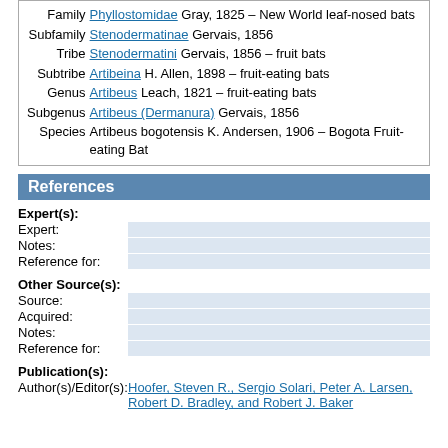| Family | Phyllostomidae Gray, 1825 – New World leaf-nosed bats |
| Subfamily | Stenodermatinae Gervais, 1856 |
| Tribe | Stenodermatini Gervais, 1856 – fruit bats |
| Subtribe | Artibeina H. Allen, 1898 – fruit-eating bats |
| Genus | Artibeus Leach, 1821 – fruit-eating bats |
| Subgenus | Artibeus (Dermanura) Gervais, 1856 |
| Species | Artibeus bogotensis K. Andersen, 1906 – Bogota Fruit-eating Bat |
References
Expert(s):
Expert:
Notes:
Reference for:
Other Source(s):
Source:
Acquired:
Notes:
Reference for:
Publication(s):
Author(s)/Editor(s): Hoofer, Steven R., Sergio Solari, Peter A. Larsen, Robert D. Bradley, and Robert J. Baker